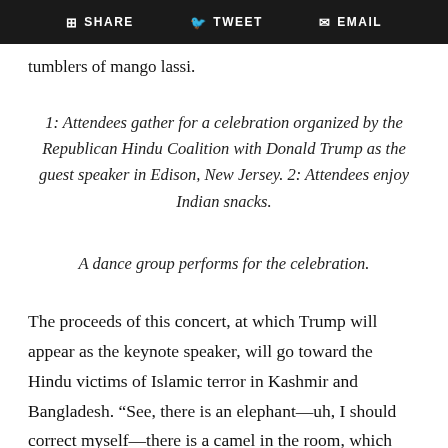SHARE   TWEET   EMAIL
tumblers of mango lassi.
1: Attendees gather for a celebration organized by the Republican Hindu Coalition with Donald Trump as the guest speaker in Edison, New Jersey. 2: Attendees enjoy Indian snacks.
A dance group performs for the celebration.
The proceeds of this concert, at which Trump will appear as the keynote speaker, will go toward the Hindu victims of Islamic terror in Kashmir and Bangladesh. “See, there is an elephant—uh, I should correct myself—there is a camel in the room, which